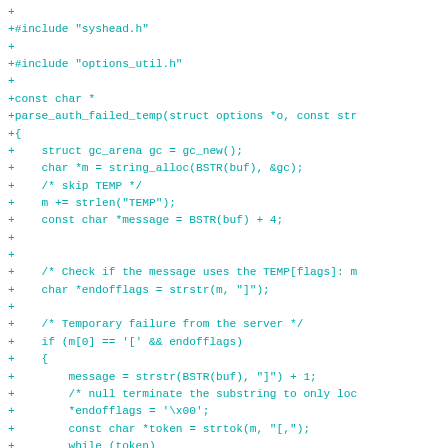+
+#include "syshead.h"
+
+#include "options_util.h"
+
+const char *
+parse_auth_failed_temp(struct options *o, const str
+{
+    struct gc_arena gc = gc_new();
+    char *m = string_alloc(BSTR(buf), &gc);
+    /* skip TEMP */
+    m += strlen("TEMP");
+    const char *message = BSTR(buf) + 4;
+
+
+    /* Check if the message uses the TEMP[flags]: m
+    char *endofflags = strstr(m, "]");
+
+    /* Temporary failure from the server */
+    if (m[0] == '[' && endofflags)
+    {
+        message = strstr(BSTR(buf), "]") + 1;
+        /* null terminate the substring to only loc
+        *endofflags = '\x00';
+        const char *token = strtok(m, "[,");
+        while (token)
+        {
+            if (!strncmp(token, "backoff ", strlen(
+            {
+                if (sscanf(token, "backoff %d", &o-
+                {
+                    msg(D_PUSH, "invalid AUTH_FAIL